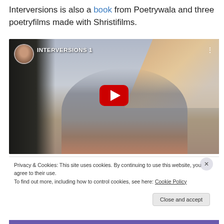Interversions is also a book from Poetrywala and three poetryfilms made with Shristifilms.
[Figure (screenshot): YouTube video embed thumbnail showing 'INTERVERSIONS 1' with a play button. Shows a woman reading/standing with fabrics in background. Small circular profile photo of speaker top-left. Three-dot menu top-right.]
Privacy & Cookies: This site uses cookies. By continuing to use this website, you agree to their use.
To find out more, including how to control cookies, see here: Cookie Policy
Close and accept